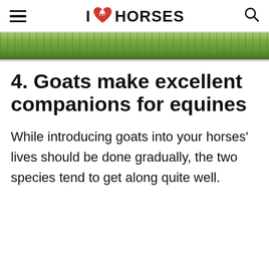I ❤ HORSES
[Figure (photo): Strip of green field/meadow grass, narrow horizontal band]
4. Goats make excellent companions for equines
While introducing goats into your horses' lives should be done gradually, the two species tend to get along quite well.